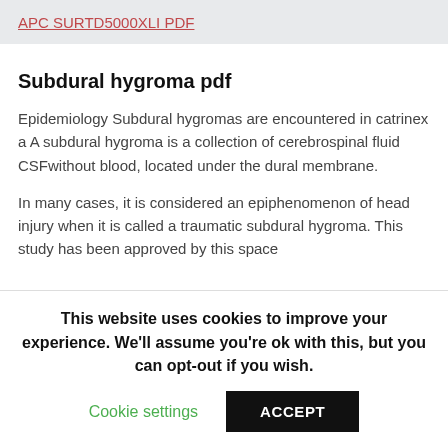APC SURTD5000XLI PDF
Subdural hygroma pdf
Epidemiology Subdural hygromas are encountered in catrinex a A subdural hygroma is a collection of cerebrospinal fluid CSFwithout blood, located under the dural membrane.
In many cases, it is considered an epiphenomenon of head injury when it is called a traumatic subdural hygroma. This study has been approved by this space
This website uses cookies to improve your experience. We'll assume you're ok with this, but you can opt-out if you wish.
Cookie settings   ACCEPT